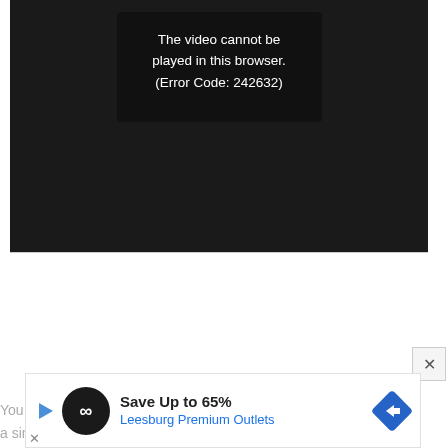[Figure (screenshot): Video player showing black screen with error message box: 'The video cannot be played in this browser. (Error Code: 242632)']
The video cannot be played in this browser. (Error Code: 242632)
[Figure (screenshot): Advertisement banner: Save Up to 65% Leesburg Premium Outlets with logo and navigation arrow]
You sh from a sing